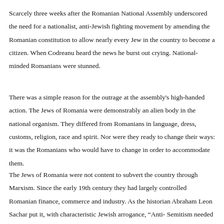Scarcely three weeks after the Romanian National Assembly underscored the need for a nationalist, anti-Jewish fighting movement by amending the Romanian constitution to allow nearly every Jew in the country to become a citizen. When Codreanu heard the news he burst out crying. National-minded Romanians were stunned.
There was a simple reason for the outrage at the assembly's high-handed action. The Jews of Romania were demonstrably an alien body in the national organism. They differed from Romanians in language, dress, customs, religion, race and spirit. Nor were they ready to change their ways: it was the Romanians who would have to change in order to accommodate them.
The Jews of Romania were not content to subvert the country through Marxism. Since the early 19th century they had largely controlled Romanian finance, commerce and industry. As the historian Abraham Leon Sachar put it, with characteristic Jewish arrogance, “Anti-Semitism needed no external stimulation in bigoted little Romania… The Jews formed the